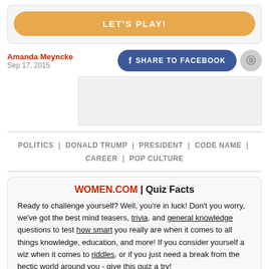[Figure (other): Orange rounded button labeled LET'S PLAY! inside a light gray rounded box]
Amanda Meyncke
Sep 17, 2015
[Figure (other): Share to Facebook button (blue rounded) and Pinterest circle button]
[Figure (other): Advertisement placeholder area]
POLITICS | DONALD TRUMP | PRESIDENT | CODE NAME | CAREER | POP CULTURE
WOMEN.COM | Quiz Facts
Ready to challenge yourself? Well, you're in luck! Don't you worry, we've got the best mind teasers, trivia, and general knowledge questions to test how smart you really are when it comes to all things knowledge, education, and more! If you consider yourself a wiz when it comes to riddles, or if you just need a break from the hectic world around you - give this quiz a try!
Do you know the biggest planet in our solar system? What